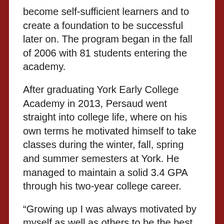become self-sufficient learners and to create a foundation to be successful later on. The program began in the fall of 2006 with 81 students entering the academy.
After graduating York Early College Academy in 2013, Persaud went straight into college life, where on his own terms he motivated himself to take classes during the winter, fall, spring and summer semesters at York. He managed to maintain a solid 3.4 GPA through his two-year college career.
“Growing up I was always motivated by myself as well as others to be the best that we can,” Persaud said.  Although he graduated with a degree in psychology, that wasn’t always the plan.
“I always wanted to be a computer engineer,” said